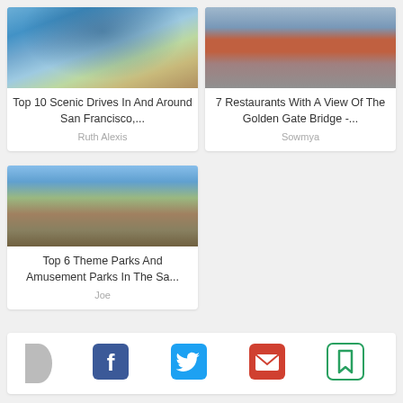[Figure (photo): Aerial/coastal scenic road view with blue water and rocky cliffs]
Top 10 Scenic Drives In And Around San Francisco,...
Ruth Alexis
[Figure (photo): Golden Gate Bridge with red towers and gray water]
7 Restaurants With A View Of The Golden Gate Bridge -...
Sowmya
[Figure (photo): Roller coaster and amusement park rides with wooden structure]
Top 6 Theme Parks And Amusement Parks In The Sa...
Joe
[Figure (infographic): Social sharing bar with Facebook, Twitter, email, and bookmark icons]